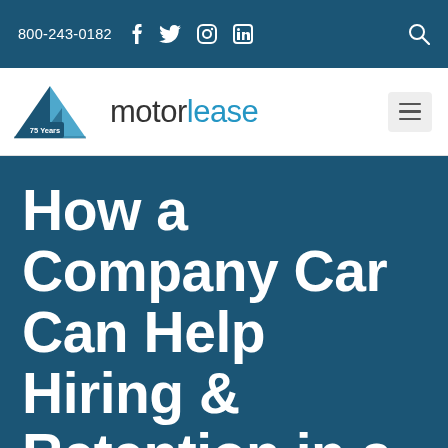800-243-0182
[Figure (logo): Motorlease logo with 75 Years badge and triangle graphic, with wordmark 'motorlease']
How a Company Car Can Help Hiring & Retention in a